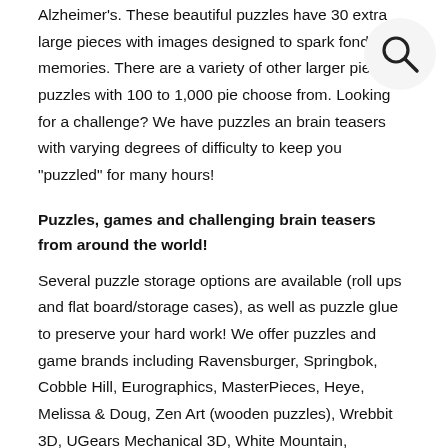Alzheimer's. These beautiful puzzles have 30 extra large pieces with images designed to spark fond memories. There are a variety of other larger piece puzzles with 100 to 1,000 pieces to choose from. Looking for a challenge? We have puzzles and brain teasers with varying degrees of difficulty to keep you "puzzled" for many hours!
[Figure (illustration): Search icon (magnifying glass) inside a light gray circle, positioned in the upper right area of the page]
Puzzles, games and challenging brain teasers from around the world!
Several puzzle storage options are available (roll ups and flat board/storage cases), as well as puzzle glue to preserve your hard work! We offer puzzles and game brands including Ravensburger, Springbok, Cobble Hill, Eurographics, MasterPieces, Heye, Melissa & Doug, Zen Art (wooden puzzles), Wrebbit 3D, UGears Mechanical 3D, White Mountain, Sunsout, Heritage, Lang, University Games, Piatnik, Clementoni, Creative Toy, Winning Moves Games, Continuum Games, New York Puzzle Co., Remarks, Tenzi, Eeboo, Heye, Pomegranate, and